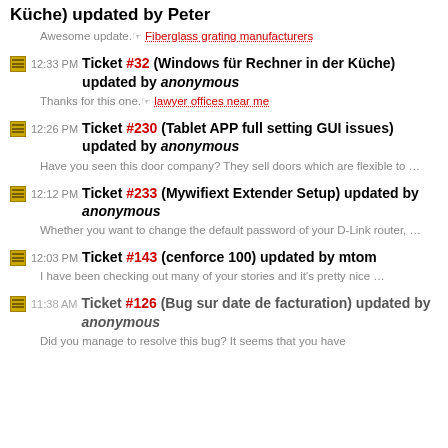Küche) updated by Peter — Awesome update. → Fiberglass grating manufacturers
12:33 PM Ticket #32 (Windows für Rechner in der Küche) updated by anonymous — Thanks for this one. → lawyer offices near me
12:26 PM Ticket #230 (Tablet APP full setting GUI issues) updated by anonymous — Have you seen this door company? They sell doors which are flexible to …
12:12 PM Ticket #233 (Mywifiext Extender Setup) updated by anonymous — Whether you want to change the default password of your D-Link router, …
12:03 PM Ticket #143 (cenforce 100) updated by mtom — I have been checking out many of your stories and it's pretty nice …
11:38 AM Ticket #126 (Bug sur date de facturation) updated by anonymous — Did you manage to resolve this bug? It seems that you have